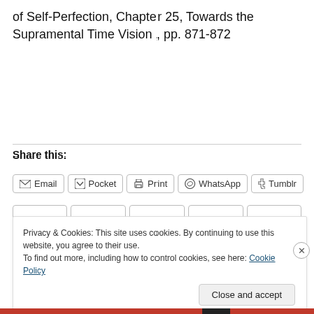of Self-Perfection, Chapter 25, Towards the Supramental Time Vision , pp. 871-872
Share this:
[Figure (screenshot): Share buttons row: Email, Pocket, Print, WhatsApp, Tumblr]
Privacy & Cookies: This site uses cookies. By continuing to use this website, you agree to their use.
To find out more, including how to control cookies, see here: Cookie Policy
Close and accept